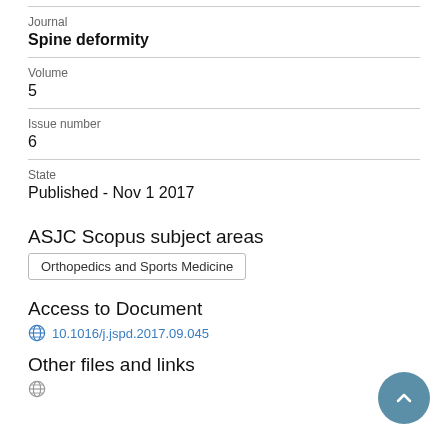Journal
Spine deformity
Volume
5
Issue number
6
State
Published - Nov 1 2017
ASJC Scopus subject areas
Orthopedics and Sports Medicine
Access to Document
10.1016/j.jspd.2017.09.045
Other files and links